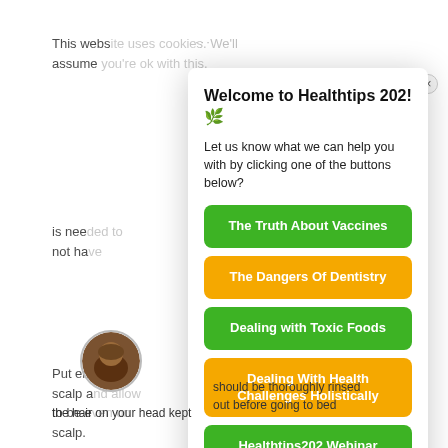This webs... assume
is nee... not ha
Put en... scalp a... to be e... scalp.
TIP! It d... emotion... with wh... hair, so
Welcome to Healthtips 202! 🌿
Let us know what we can help you with by clicking one of the buttons below?
The Truth About Vaccines
The Dangers Of Dentistry
Dealing with Toxic Foods
Dealing With Health Challenges Holistically
Healthtips202 Webinar Replays
(partial yellow button)
the hair on your head kept
should be thoroughly rinsed
out before going to bed